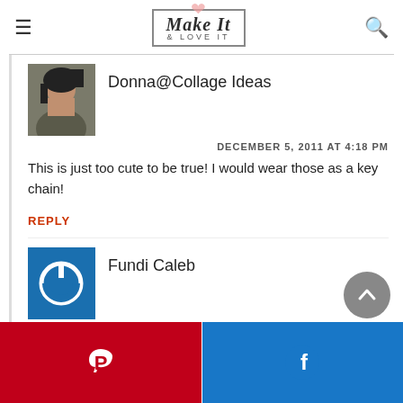Make It & LOVE IT
Donna@Collage Ideas
DECEMBER 5, 2011 AT 4:18 PM
This is just too cute to be true! I would wear those as a key chain!
REPLY
Fundi Caleb